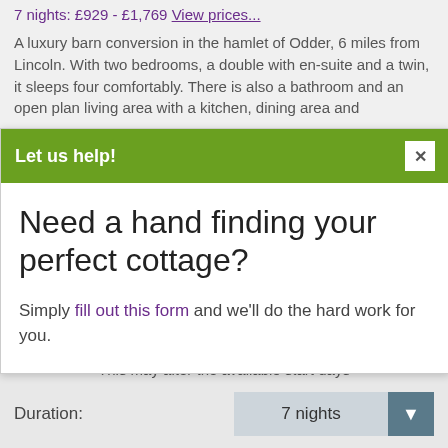7 nights: £929 - £1,769 View prices...
A luxury barn conversion in the hamlet of Odder, 6 miles from Lincoln. With two bedrooms, a double with en-suite and a twin, it sleeps four comfortably. There is also a bathroom and an open plan living area with a kitchen, dining area and
Let us help!
Need a hand finding your perfect cottage?
Simply fill out this form and we'll do the hard work for you.
Select your length of stay
This may alter the available start days
Duration: 7 nights